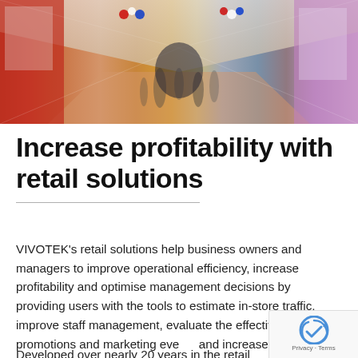[Figure (photo): Wide-angle photo of a shopping mall interior with motion blur of pedestrians, decorative elements, and retail storefronts with colorful signage]
Increase profitability with retail solutions
VIVOTEK's retail solutions help business owners and managers to improve operational efficiency, increase profitability and optimise management decisions by providing users with the tools to estimate in-store traffic, improve staff management, evaluate the effectiveness of promotions and marketing events and increase sales revenue.
Developed over nearly 20 years in the retail industry